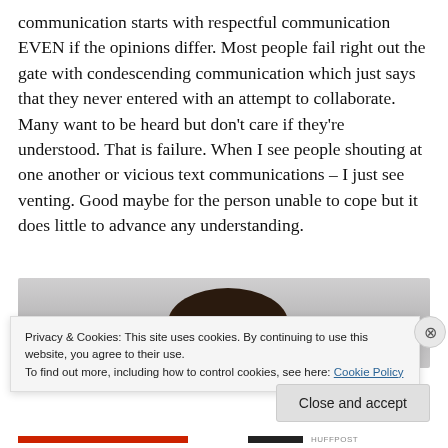communication starts with respectful communication EVEN if the opinions differ. Most people fail right out the gate with condescending communication which just says that they never entered with an attempt to collaborate. Many want to be heard but don't care if they're understood. That is failure. When I see people shouting at one another or vicious text communications – I just see venting. Good maybe for the person unable to cope but it does little to advance any understanding.
[Figure (photo): Partial photo of a person with dark hair, background is light/white fabric or surface.]
Privacy & Cookies: This site uses cookies. By continuing to use this website, you agree to their use.
To find out more, including how to control cookies, see here: Cookie Policy
Close and accept
HUFFPOST